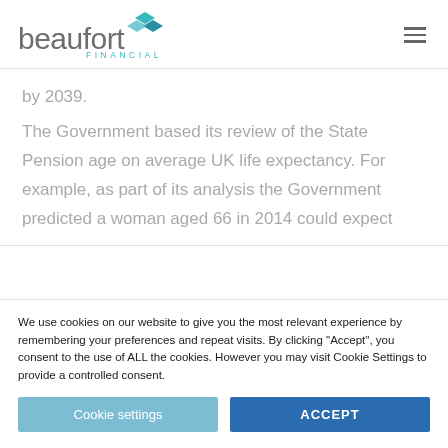[Figure (logo): Beaufort Financial logo with teal chevron arrows and wordmark]
by 2039.
The Government based its review of the State Pension age on average UK life expectancy. For example, as part of its analysis the Government predicted a woman aged 66 in 2014 could expect
We use cookies on our website to give you the most relevant experience by remembering your preferences and repeat visits. By clicking "Accept", you consent to the use of ALL the cookies. However you may visit Cookie Settings to provide a controlled consent.